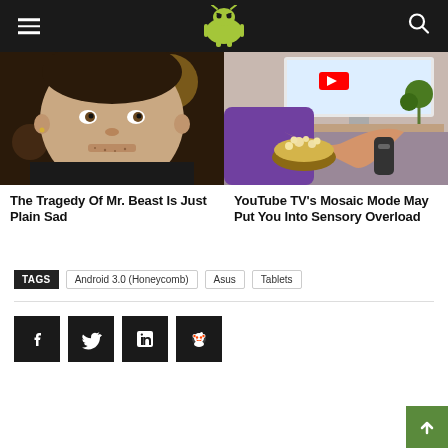Android Authority navigation bar with logo, hamburger menu, and search icon
[Figure (photo): Close-up photo of a young man with light stubble and earring, dark background with bokeh lighting]
The Tragedy Of Mr. Beast Is Just Plain Sad
[Figure (photo): Person sitting on couch holding TV remote and bowl of popcorn, television in background]
YouTube TV's Mosaic Mode May Put You Into Sensory Overload
TAGS  Android 3.0 (Honeycomb)  Asus  Tablets